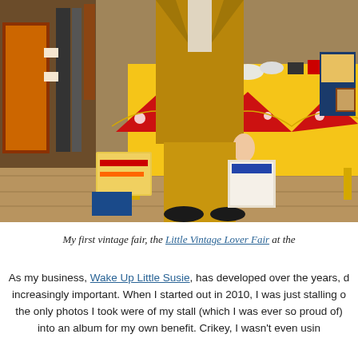[Figure (photo): A person in a mustard/tan suit standing at a vintage fair stall. The stall has a yellow tablecloth with red polka-dot bunting, and various vintage items including records, books, and collectibles. Vintage clothing hangs on the left.]
My first vintage fair, the Little Vintage Lover Fair at the...
As my business, Wake Up Little Susie, has developed over the years, ... increasingly important. When I started out in 2010, I was just stalling o... the only photos I took were of my stall (which I was ever so proud of)... into an album for my own benefit. Crikey, I wasn't even usin...